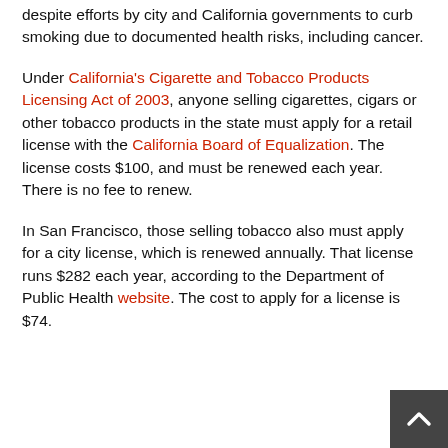despite efforts by city and California governments to curb smoking due to documented health risks, including cancer.
Under California's Cigarette and Tobacco Products Licensing Act of 2003, anyone selling cigarettes, cigars or other tobacco products in the state must apply for a retail license with the California Board of Equalization. The license costs $100, and must be renewed each year. There is no fee to renew.
In San Francisco, those selling tobacco also must apply for a city license, which is renewed annually. That license runs $282 each year, according to the Department of Public Health website. The cost to apply for a license is $74.